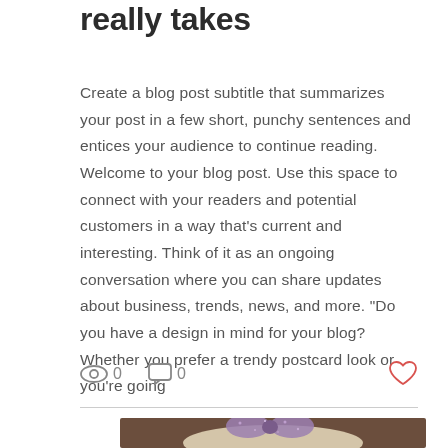really takes
Create a blog post subtitle that summarizes your post in a few short, punchy sentences and entices your audience to continue reading. Welcome to your blog post. Use this space to connect with your readers and potential customers in a way that's current and interesting. Think of it as an ongoing conversation where you can share updates about business, trends, news, and more. "Do you have a design in mind for your blog? Whether you prefer a trendy postcard look or you're going
[Figure (photo): Social media post interaction bar with eye/views icon showing 0, comment icon showing 0, and heart/like icon on the right]
[Figure (photo): Photo of a blonde woman from behind/top, wearing a glittery purple bow hair accessory, against a brown background]